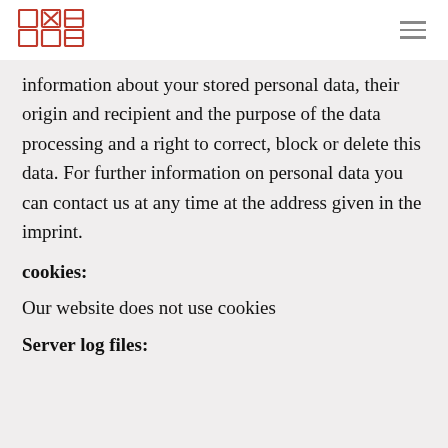DXB logo and navigation
information about your stored personal data, their origin and recipient and the purpose of the data processing and a right to correct, block or delete this data. For further information on personal data you can contact us at any time at the address given in the imprint.
cookies:
Our website does not use cookies
Server log files: